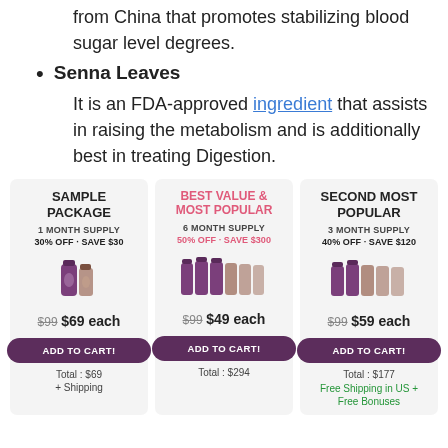from China that promotes stabilizing blood sugar level degrees.
Senna Leaves - It is an FDA-approved ingredient that assists in raising the metabolism and is additionally best in treating Digestion.
| Package | Supply | Discount | Price | Total |
| --- | --- | --- | --- | --- |
| SAMPLE PACKAGE | 1 MONTH SUPPLY | 30% OFF - SAVE $30 | $99 $69 each | Total: $69 + Shipping |
| BEST VALUE & MOST POPULAR | 6 MONTH SUPPLY | 50% OFF - SAVE $300 | $99 $49 each | Total: $294 |
| SECOND MOST POPULAR | 3 MONTH SUPPLY | 40% OFF - SAVE $120 | $99 $59 each | Total: $177 Free Shipping in US + Free Bonuses |